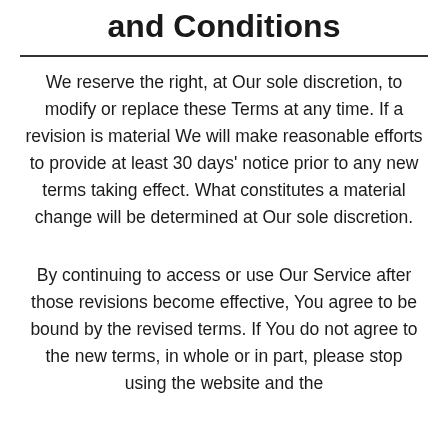and Conditions
We reserve the right, at Our sole discretion, to modify or replace these Terms at any time. If a revision is material We will make reasonable efforts to provide at least 30 days' notice prior to any new terms taking effect. What constitutes a material change will be determined at Our sole discretion.
By continuing to access or use Our Service after those revisions become effective, You agree to be bound by the revised terms. If You do not agree to the new terms, in whole or in part, please stop using the website and the